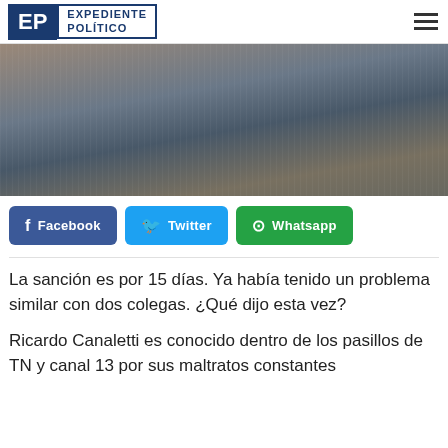EXPEDIENTE POLÍTICO
[Figure (photo): Man wearing glasses, striped shirt and dark vest, photographed from chest up. Brick wall background.]
[Figure (infographic): Social share buttons: Facebook (blue), Twitter (light blue), Whatsapp (green)]
La sanción es por 15 días. Ya había tenido un problema similar con dos colegas. ¿Qué dijo esta vez?
Ricardo Canaletti es conocido dentro de los pasillos de TN y canal 13 por sus maltratos constantes